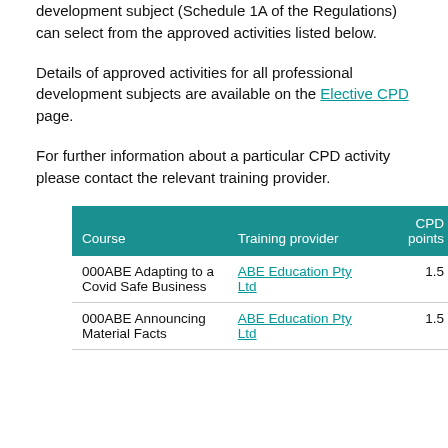development subject (Schedule 1A of the Regulations) can select from the approved activities listed below.
Details of approved activities for all professional development subjects are available on the Elective CPD page.
For further information about a particular CPD activity please contact the relevant training provider.
| Course | Training provider | CPD points |
| --- | --- | --- |
| 000ABE Adapting to a Covid Safe Business | ABE Education Pty Ltd | 1.5 |
| 000ABE Announcing Material Facts | ABE Education Pty Ltd | 1.5 |